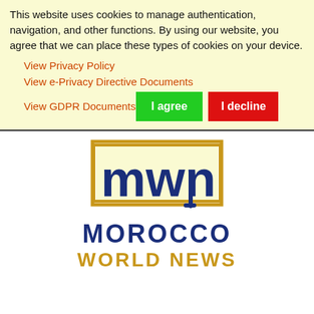This website uses cookies to manage authentication, navigation, and other functions. By using our website, you agree that we can place these types of cookies on your device.
View Privacy Policy
View e-Privacy Directive Documents
View GDPR Documents
[Figure (logo): Morocco World News logo with golden square bracket frame containing stylized 'mwn' letters in dark blue, text MOROCCO in dark blue bold capitals and WORLD NEWS in golden capitals below]